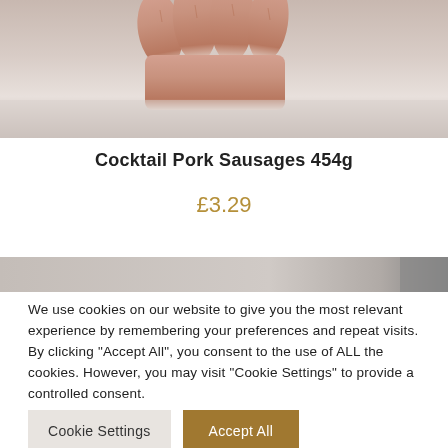[Figure (photo): Close-up photo of a hand/fingers holding sausages against a light grey background]
Cocktail Pork Sausages 454g
£3.29
[Figure (photo): Partial view of another product photo with grey/light background]
We use cookies on our website to give you the most relevant experience by remembering your preferences and repeat visits. By clicking "Accept All", you consent to the use of ALL the cookies. However, you may visit "Cookie Settings" to provide a controlled consent.
Cookie Settings | Accept All